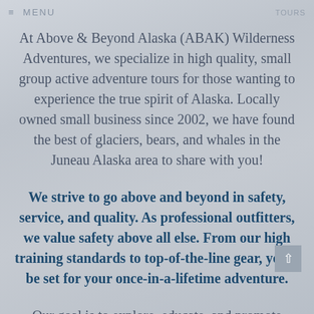≡  MENU                                    TOURS
At Above & Beyond Alaska (ABAK) Wilderness Adventures, we specialize in high quality, small group active adventure tours for those wanting to experience the true spirit of Alaska. Locally owned small business since 2002, we have found the best of glaciers, bears, and whales in the Juneau Alaska area to share with you!
We strive to go above and beyond in safety, service, and quality. As professional outfitters, we value safety above all else. From our high training standards to top-of-the-line gear, you'll be set for your once-in-a-lifetime adventure.
Our goal is to explore, educate, and promote